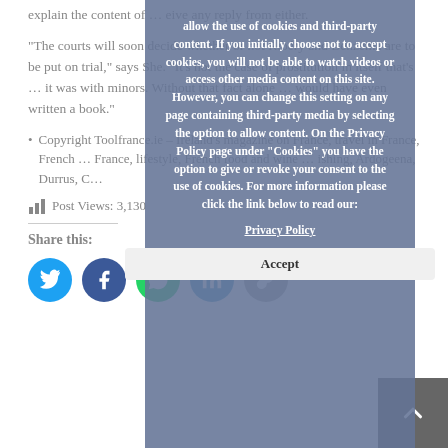explain the content of … eive any reply from either.
“The courts will soon decide whether or not Ribéry and Benzema are to be put on trial,” says She. “It’s not the case of prostitution in itself that’s … it was with minors. Without that fact alone … would have even written a book.”
Copyright Toolfrance.ie – Ireland’s magazine on France, travel in France, French … France, lifestyle, French food and wine … ishing, Ardogeena, Durrus, C…
Post Views: 3,130
Share this:
allow the use of cookies and third-party content. If you initially choose not to accept cookies, you will not be able to watch videos or access other media content on this site. However, you can change this setting on any page containing third-party media by selecting the option to allow content. On the Privacy Policy page under “Cookies” you have the option to give or revoke your consent to the use of cookies. For more information please click the link below to read our:
Privacy Policy
Accept